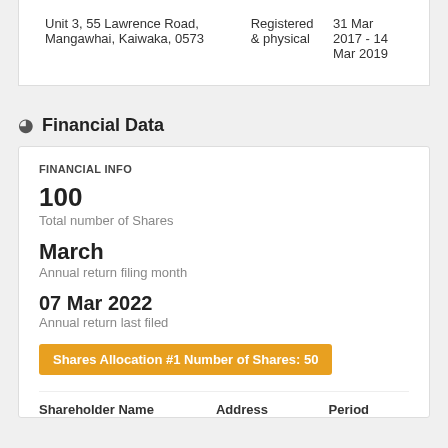| Address | Type | Period |
| --- | --- | --- |
| Unit 3, 55 Lawrence Road, Mangawhai, Kaiwaka, 0573 | Registered & physical | 31 Mar 2017 - 14 Mar 2019 |
Financial Data
FINANCIAL INFO
100
Total number of Shares
March
Annual return filing month
07 Mar 2022
Annual return last filed
Shares Allocation #1 Number of Shares: 50
| Shareholder Name | Address | Period |
| --- | --- | --- |